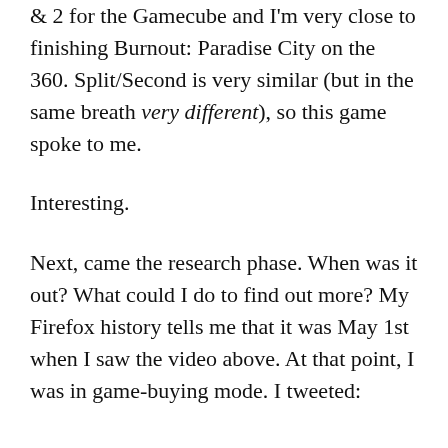& 2 for the Gamecube and I'm very close to finishing Burnout: Paradise City on the 360. Split/Second is very similar (but in the same breath very different), so this game spoke to me.
Interesting.
Next, came the research phase. When was it out? What could I do to find out more? My Firefox history tells me that it was May 1st when I saw the video above. At that point, I was in game-buying mode. I tweeted: